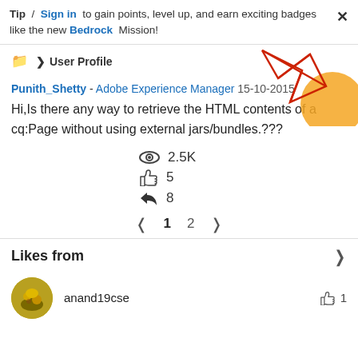Tip / Sign in to gain points, level up, and earn exciting badges like the new Bedrock Mission!
> User Profile
Punith_Shetty - Adobe Experience Manager 15-10-2015
Hi,Is there any way to retrieve the HTML contents of a cq:Page without using external jars/bundles.???
2.5K views, 5 likes, 8 replies
< 1 2 >
Likes from
anand19cse  1